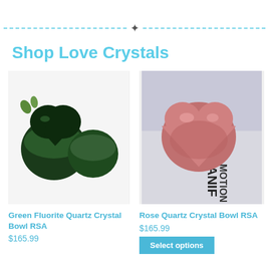[Figure (other): Decorative dotted divider line with a maple leaf icon in the center]
Shop Love Crystals
[Figure (photo): Two green fluorite quartz crystal heart-shaped bowls on a white surface]
Green Fluorite Quartz Crystal Bowl RSA
$165.99
[Figure (photo): A rose quartz crystal heart-shaped bowl on a white surface with printed text background]
Rose Quartz Crystal Bowl RSA
$165.99
Select options